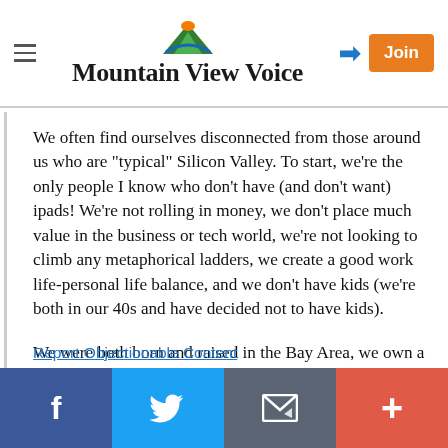Mountain View Voice
We often find ourselves disconnected from those around us who are "typical" Silicon Valley. To start, we're the only people I know who don't have (and don't want) ipads! We're not rolling in money, we don't place much value in the business or tech world, we're not looking to climb any metaphorical ladders, we create a good work life-personal life balance, and we don't have kids (we're both in our 40s and have decided not to have kids).
We were both born and raised in the Bay Area, we own a little house, and don't plan on moving. But, it can feel isolating not to be a "typical" Silicon Valley type.
Report Objectionable Content